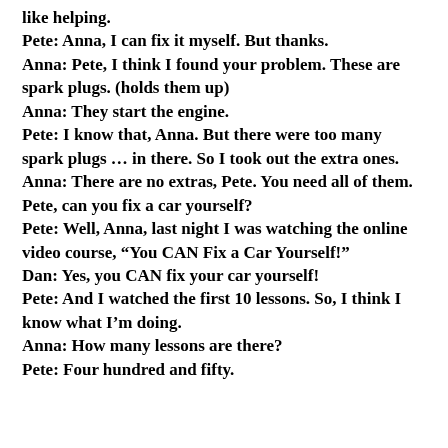like helping.
Pete: Anna, I can fix it myself. But thanks.
Anna: Pete, I think I found your problem. These are spark plugs. (holds them up)
Anna: They start the engine.
Pete: I know that, Anna. But there were too many spark plugs … in there. So I took out the extra ones.
Anna: There are no extras, Pete. You need all of them. Pete, can you fix a car yourself?
Pete: Well, Anna, last night I was watching the online video course, “You CAN Fix a Car Yourself!”
Dan: Yes, you CAN fix your car yourself!
Pete: And I watched the first 10 lessons. So, I think I know what I’m doing.
Anna: How many lessons are there?
Pete: Four hundred and fifty.